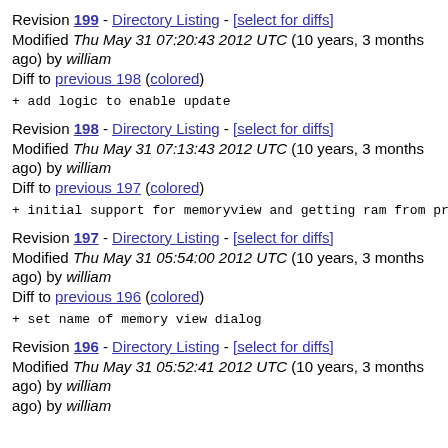Revision 199 - Directory Listing - [select for diffs] Modified Thu May 31 07:20:43 2012 UTC (10 years, 3 months ago) by william Diff to previous 198 (colored)
+ add logic to enable update
Revision 198 - Directory Listing - [select for diffs] Modified Thu May 31 07:13:43 2012 UTC (10 years, 3 months ago) by william Diff to previous 197 (colored)
+ initial support for memoryview and getting ram from pr...
Revision 197 - Directory Listing - [select for diffs] Modified Thu May 31 05:54:00 2012 UTC (10 years, 3 months ago) by william Diff to previous 196 (colored)
+ set name of memory view dialog
Revision 196 - Directory Listing - [select for diffs] Modified Thu May 31 05:52:41 2012 UTC (10 years, 3 months ago) by william